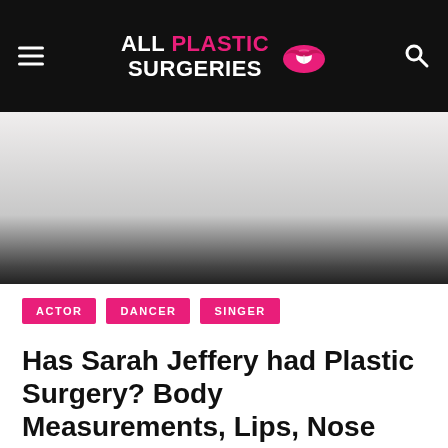ALL PLASTIC SURGERIES
[Figure (photo): Hero image area with gradient fade from light gray to dark, representing a placeholder or faded photo]
ACTOR
DANCER
SINGER
Has Sarah Jeffery had Plastic Surgery? Body Measurements, Lips, Nose Job, and More!